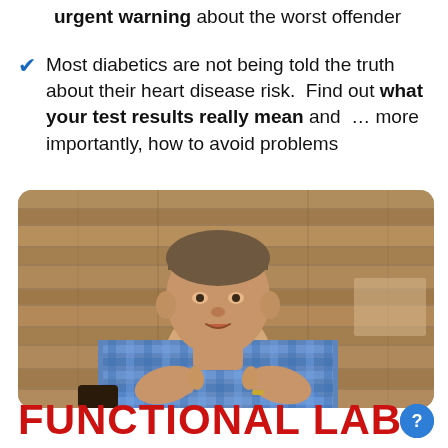urgent warning about the worst offender
Most diabetics are not being told the truth about their heart disease risk.  Find out what your test results really mean and … more importantly, how to avoid problems
[Figure (photo): A man in a blue checkered shirt speaking expressively with his hands, seated in front of a rustic wood plank wall background]
FUNCTIONAL LAB